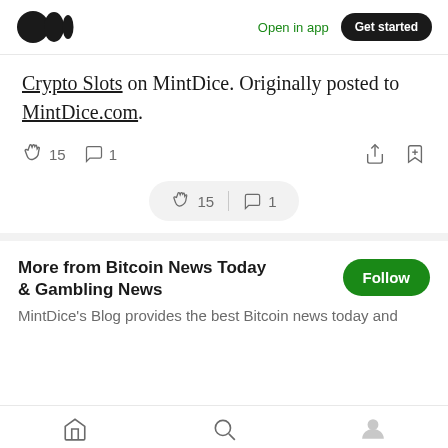Medium logo | Open in app | Get started
Crypto Slots on MintDice. Originally posted to MintDice.com.
15 claps | 1 comment | share | bookmark
15 | 1 (floating pill)
More from Bitcoin News Today & Gambling News
MintDice's Blog provides the best Bitcoin news today and
Home | Search | Profile